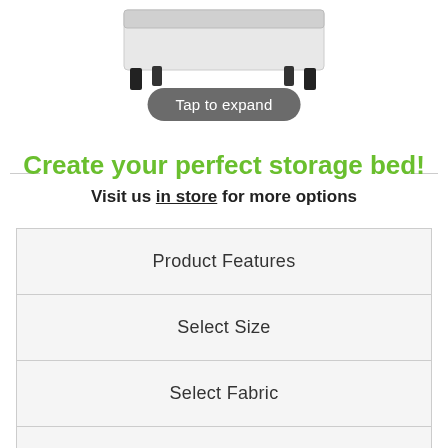[Figure (photo): Partial view of a storage bed product photo, cropped at the top of the page, showing part of the bed frame with black legs on a white background.]
Tap to expand
Create your perfect storage bed!
Visit us in store for more options
| Product Features |
| Select Size |
| Select Fabric |
| Sofa Bed |